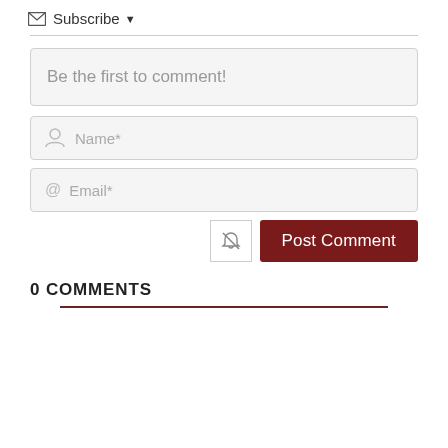Subscribe ▾
[Figure (screenshot): Comment form with text area 'Be the first to comment!', Name* input, Email* input, notification bell icon button, and dark red 'Post Comment' button]
0 COMMENTS